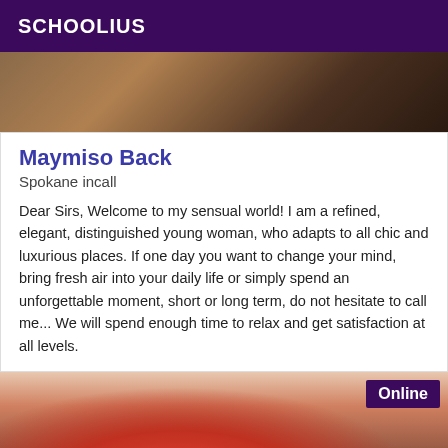SCHOOLIUS
[Figure (photo): Top portion of a person, cropped photo with dark background tones]
Maymiso Back
Spokane incall
Dear Sirs, Welcome to my sensual world! I am a refined, elegant, distinguished young woman, who adapts to all chic and luxurious places. If one day you want to change your mind, bring fresh air into your daily life or simply spend an unforgettable moment, short or long term, do not hesitate to call me... We will spend enough time to relax and get satisfaction at all levels.
[Figure (photo): Woman in red dress posing, with Online badge in upper right corner]